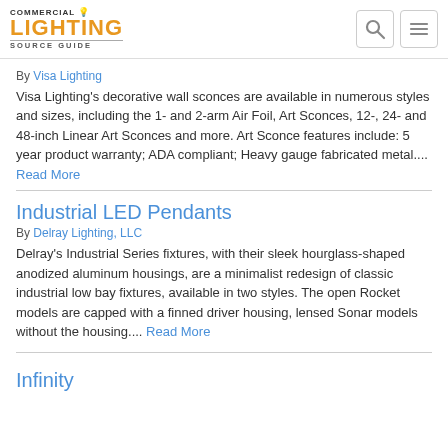Commercial Lighting Source Guide
By Visa Lighting
Visa Lighting's decorative wall sconces are available in numerous styles and sizes, including the 1- and 2-arm Air Foil, Art Sconces, 12-, 24- and 48-inch Linear Art Sconces and more. Art Sconce features include: 5 year product warranty; ADA compliant; Heavy gauge fabricated metal.... Read More
Industrial LED Pendants
By Delray Lighting, LLC
Delray's Industrial Series fixtures, with their sleek hourglass-shaped anodized aluminum housings, are a minimalist redesign of classic industrial low bay fixtures, available in two styles. The open Rocket models are capped with a finned driver housing, lensed Sonar models without the housing.... Read More
Infinity